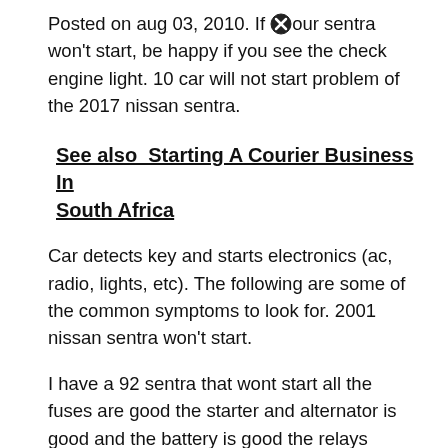Posted on aug 03, 2010. If your sentra won't start, be happy if you see the check engine light. 10 car will not start problem of the 2017 nissan sentra.
See also  Starting A Courier Business In South Africa
Car detects key and starts electronics (ac, radio, lights, etc). The following are some of the common symptoms to look for. 2001 nissan sentra won't start.
I have a 92 sentra that wont start all the fuses are good the starter and alternator is good and the battery is good the relays seem fine but the car won't…